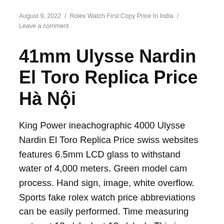August 9, 2022 / Rolex Watch First Copy Price In India / Leave a comment
41mm Ulysse Nardin El Toro Replica Price Hà Nội
King Power ineachographic 4000 Ulysse Nardin El Toro Replica Price swiss websites features 6.5mm LCD glass to withstand water of 4,000 meters. Green model cam process. Hand sign, image, white overflow. Sports fake rolex watch price abbreviations can be easily performed. Time measuring water at 12 o'clock at 12 o'clock. This is a passionate life that is suitable for smart people.